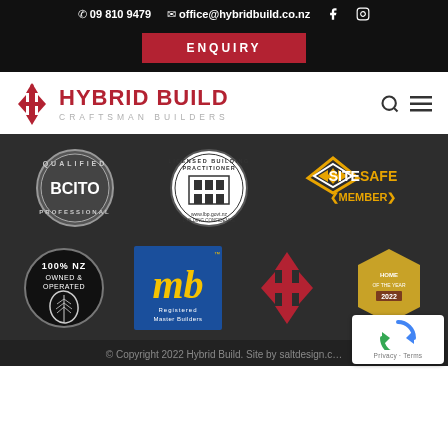09 810 9479  office@hybridbuild.co.nz
ENQUIRY
[Figure (logo): Hybrid Build Craftsman Builders logo with red arrow icon and text]
[Figure (logo): Certification badges row 1: BCITO Qualified Professional, Licensed Building Practitioner, SiteSafe Member]
[Figure (logo): Certification badges row 2: 100% NZ Owned & Operated, Registered Master Builders (mb), Hybrid Build icon, Home of the Year 2022]
© Copyright 2022 Hybrid Build. Site by saltdesign.c…